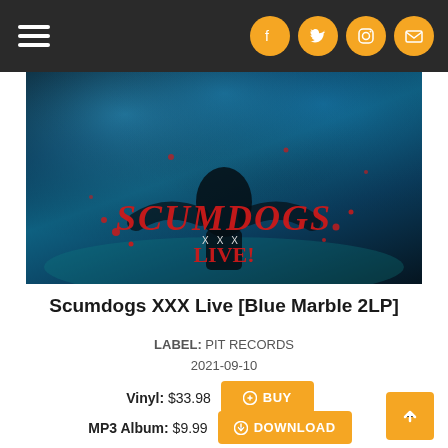Navigation bar with hamburger menu and social icons (Facebook, Twitter, Instagram, Email)
[Figure (photo): Album cover art for Scumdogs XXX Live showing a dark figure on stage with blue stage lighting and red splatter effects, with the band logo 'SCUMDOGS' in red dripping text and 'XXX LIVE!' below]
Scumdogs XXX Live [Blue Marble 2LP]
LABEL: PIT RECORDS
2021-09-10
Vinyl: $33.98  BUY
MP3 Album: $9.99  DOWNLOAD